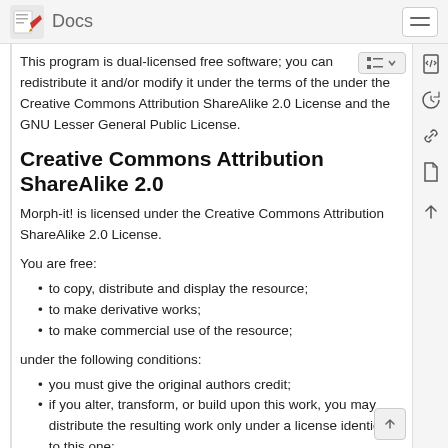Docs
This program is dual-licensed free software; you can redistribute it and/or modify it under the terms of the under the Creative Commons Attribution ShareAlike 2.0 License and the GNU Lesser General Public License.
Creative Commons Attribution ShareAlike 2.0
Morph-it! is licensed under the Creative Commons Attribution ShareAlike 2.0 License.
You are free:
to copy, distribute and display the resource;
to make derivative works;
to make commercial use of the resource;
under the following conditions:
you must give the original authors credit;
if you alter, transform, or build upon this work, you may distribute the resulting work only under a license identical to this one;